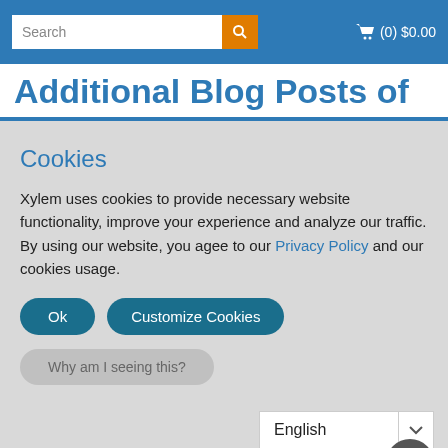Search | (0) $0.00
Additional Blog Posts of
Cookies
Xylem uses cookies to provide necessary website functionality, improve your experience and analyze our traffic. By using our website, you agee to our Privacy Policy and our cookies usage.
Ok | Customize Cookies
Why am I seeing this?
English